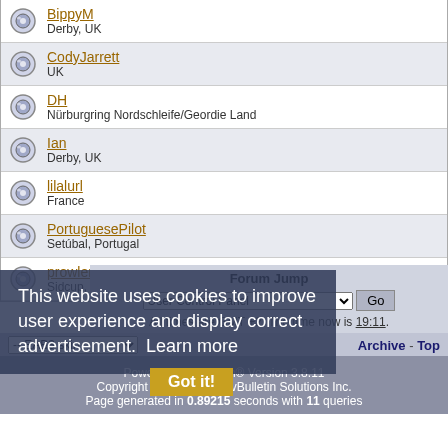BippyM — Derby, UK
CodyJarrett — UK
DH — Nürburgring Nordschleife/Geordie Land
Ian — Derby, UK
lilalurl — France
PortuguesePilot — Setúbal, Portugal
prowler — Sidcup, England
Forum Jump
All times are GMT +2. The time now is 19:11.
This website uses cookies to improve user experience and display correct advertisement. Learn more
Got it!
-- EAB3 skin
Archive - Top
Powered by vBulletin® Version 3.8.11
Copyright ©2000 - 2022, vBulletin Solutions Inc.
Page generated in 0.89215 seconds with 11 queries